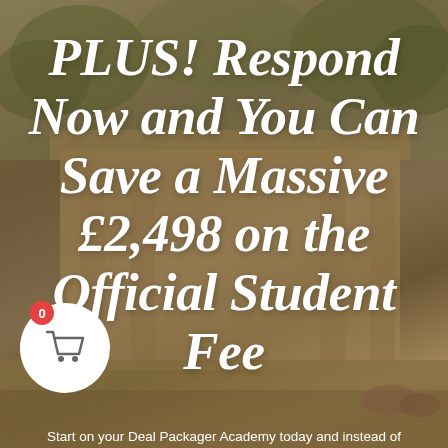[Figure (photo): Background photo of an ancient temple (Angkor Wat style) with palm trees and stone architecture, sepia/warm toned]
PLUS! Respond Now and You Can Save a Massive £2,498 on the Official Student Fee
Start on your Deal Packager Academy today and instead of